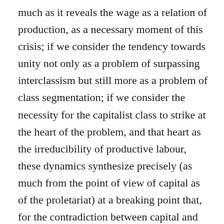much as it reveals the wage as a relation of production, as a necessary moment of this crisis; if we consider the tendency towards unity not only as a problem of surpassing interclassism but still more as a problem of class segmentation; if we consider the necessity for the capitalist class to strike at the heart of the problem, and that heart as the irreducibility of productive labour, these dynamics synthesize precisely (as much from the point of view of capital as of the proletariat) at a breaking point that, for the contradiction between capital and proletariat, consists in breaking the 'glass floor' that production still is to the social movements that operate on the level of reproduction, but also consists, for workers struggles, as violent as they may be, in breaking the 'glass ceiling': surpassing demands. For a struggle with demands to go beyond what it is, is for it to place the contradiction between classes not